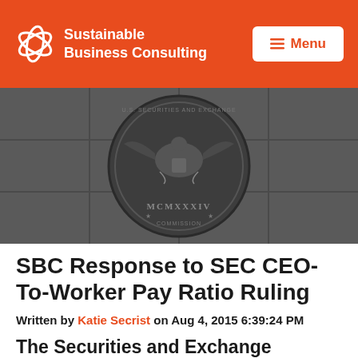Sustainable Business Consulting — Menu
[Figure (photo): Black and white photo of the U.S. Securities and Exchange Commission seal engraved on stone, reading 'U.S. Securities and Exchange Commission MCMXXXIV']
SBC Response to SEC CEO-To-Worker Pay Ratio Ruling
Written by Katie Secrist on Aug 4, 2015 6:39:24 PM
The Securities and Exchange